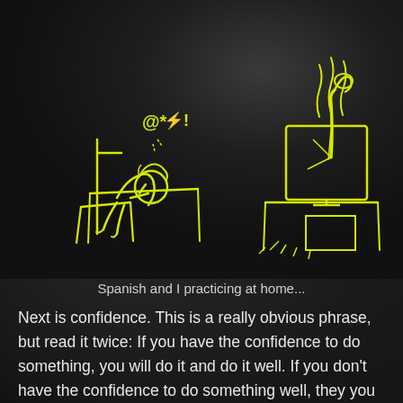[Figure (illustration): Yellow line drawing on dark background showing two scenes: on the left, a frustrated person sitting at a desk with head in hands, with '@*#%!' symbols in a speech bubble above; on the right, a person's arm punching up through a computer monitor on a desk, with steam/smoke rising from it. The drawings are rendered in bright yellow outlines against a dark gray/black background.]
Spanish and I practicing at home...
Next is confidence. This is a really obvious phrase, but read it twice: If you have the confidence to do something, you will do it and do it well. If you don't have the confidence to do something well, they you won't do it well. Duh, right? I think I play the guitar really well, and will play in front of people no